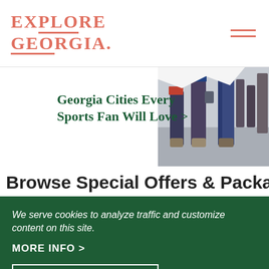EXPLORE GEORGIA.
Georgia Cities Every Sports Fan Will Love >
[Figure (photo): Photo of people at a sports event, showing legs and feet of fans walking]
Browse Special Offers & Packages
We serve cookies to analyze traffic and customize content on this site.
MORE INFO >
I AGREE